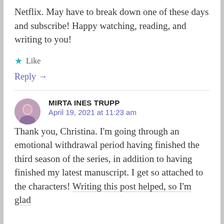Netflix. May have to break down one of these days and subscribe! Happy watching, reading, and writing to you!
★ Like
Reply →
MIRTA INES TRUPP
April 19, 2021 at 11:23 am
Thank you, Christina. I'm going through an emotional withdrawal period having finished the third season of the series, in addition to having finished my latest manuscript. I get so attached to the characters! Writing this post helped, so I'm glad